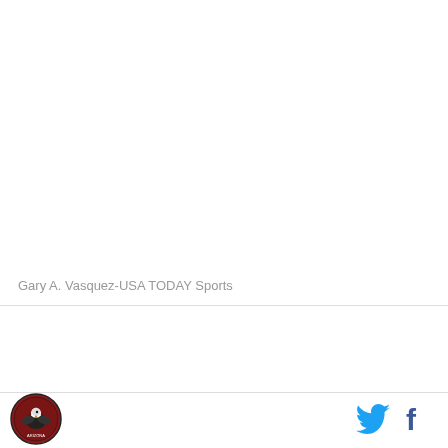Gary A. Vasquez-USA TODAY Sports
[Figure (logo): Circular sports team logo with eagle/bird imagery in red, black, and white]
[Figure (illustration): Twitter bird icon in cyan/blue]
[Figure (illustration): Facebook 'f' icon in dark blue]